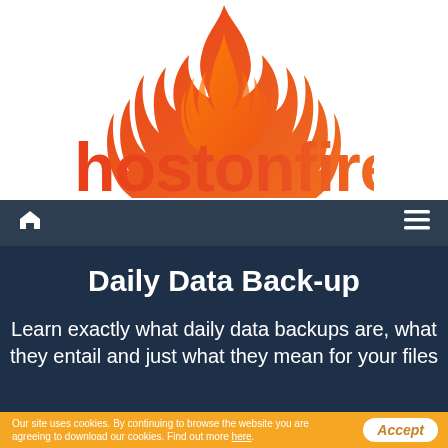[Figure (logo): HostOnFire logo: flame icon above the text 'hostonfire' with gradient from orange to red]
[Figure (other): Navigation bar with home icon on the left and hamburger menu icon on the right, dark navy background]
Daily Data Back-up
Learn exactly what daily data backups are, what they entail and just what they mean for your files
Our site uses cookies. By continuing to browse the website you are agreeing to download our cookies. Find out more here.